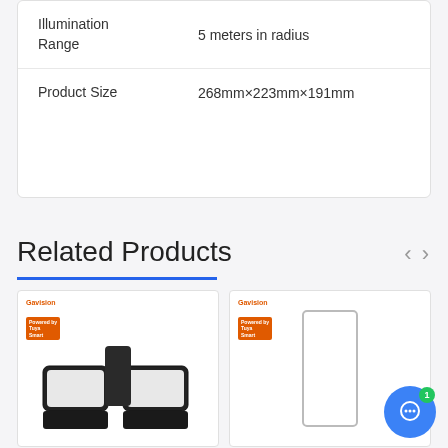| Specification | Value |
| --- | --- |
| Illumination Range | 5 meters in radius |
| Product Size | 268mm×223mm×191mm |
Related Products
[Figure (photo): Two product cards showing Gavision branded smart lighting products with Tuya badges, partially visible at the bottom of the page. Left card shows a dual-panel outdoor LED flood light. Right card shows a rectangular panel/plate product. A blue customer service chat bubble with headphone icon and notification badge (1) appears in the bottom right.]